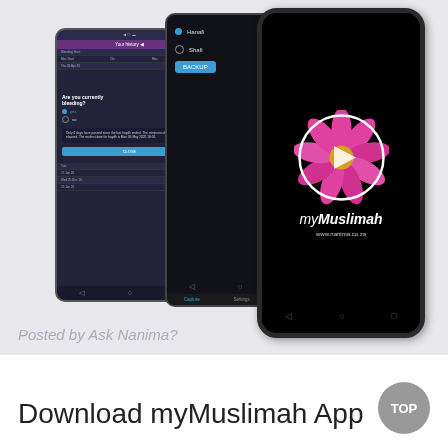[Figure (screenshot): Three smartphone screenshots of the myMuslimah app. Left phone shows 'Your history' screen with bleeding tracker and 'Are you currently bleeding?' question with yes/no radio buttons, plus an info message and CLOSE button. Middle phone shows a dark screen with Hanaafi and Shaafi radio options and a BACKUP button, plus bottom navigation (Capture, Settings, About). Right phone shows the myMuslimah app splash screen with a pink flower logo inside a circle with a play button, app name 'myMuslimah', and website www.nanima.co.za.]
Posted by Ask Nanima?
Download myMuslimah App